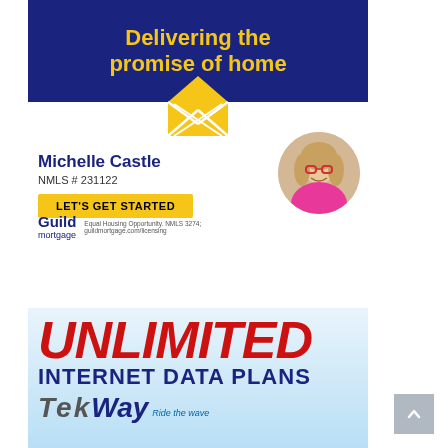[Figure (infographic): Guild Mortgage advertisement. Top section has dark navy background with yellow bold text 'Delivering the promise of home' and a yellow house/envelope icon. Below shows agent name Michelle Castle, NMLS # 231122, a yellow 'LET'S GET STARTED' button, a circular photo of the agent (blonde woman with red glasses in pink top), Guild Mortgage logo, and legal text.]
[Figure (infographic): TekWay internet advertisement on a light blue gradient background. Red bold italic text 'UNLIMITED', navy bold text 'INTERNET DATA PLANS', and TekWay logo with italic text 'Ride the wave'.]